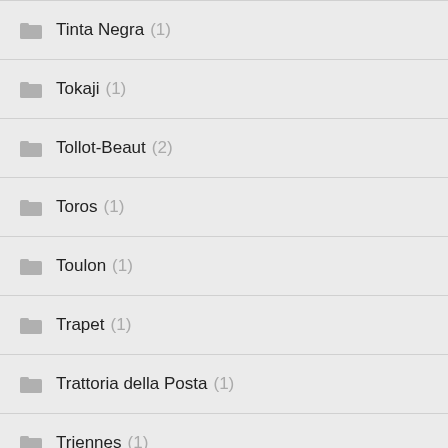Tinta Negra (1)
Tokaji (1)
Tollot-Beaut (2)
Toros (1)
Toulon (1)
Trapet (1)
Trattoria della Posta (1)
Triennes (1)
Trimbach (1)